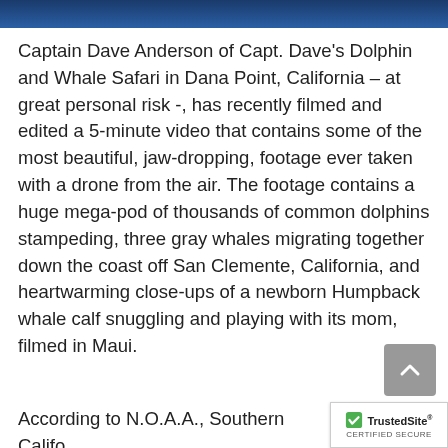[Figure (photo): Blue banner image at the top of the page]
Captain Dave Anderson of Capt. Dave's Dolphin and Whale Safari in Dana Point, California – at great personal risk -, has recently filmed and edited a 5-minute video that contains some of the most beautiful, jaw-dropping, footage ever taken with a drone from the air. The footage contains a huge mega-pod of thousands of common dolphins stampeding, three gray whales migrating together down the coast off San Clemente, California, and heartwarming close-ups of a newborn Humpback whale calf snuggling and playing with its mom, filmed in Maui.
According to N.O.A.A., Southern Califo…